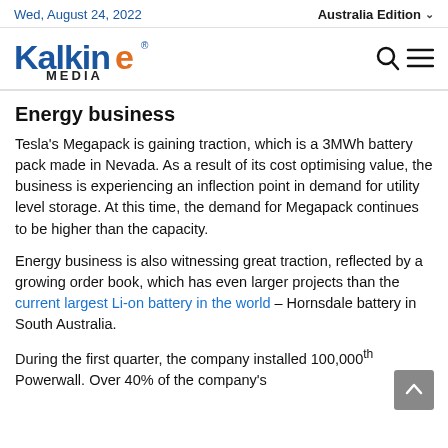Wed, August 24, 2022 | Australia Edition
[Figure (logo): Kalkine Media logo — stylized blue text 'Kalkine' with orange 'E' and registered mark, 'MEDIA' below in dark text]
Energy business
Tesla's Megapack is gaining traction, which is a 3MWh battery pack made in Nevada. As a result of its cost optimising value, the business is experiencing an inflection point in demand for utility level storage. At this time, the demand for Megapack continues to be higher than the capacity.
Energy business is also witnessing great traction, reflected by a growing order book, which has even larger projects than the current largest Li-on battery in the world – Hornsdale battery in South Australia.
During the first quarter, the company installed 100,000th Powerwall. Over 40% of the company's